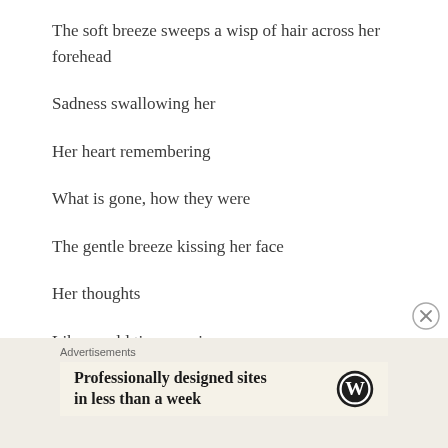The soft breeze sweeps a wisp of hair across her forehead
Sadness swallowing her
Her heart remembering
What is gone, how they were
The gentle breeze kissing her face
Her thoughts
Like an old time movie
[Figure (other): Close button (X in circle) for advertisement]
Advertisements
[Figure (other): WordPress advertisement banner: 'Professionally designed sites in less than a week' with WordPress logo]